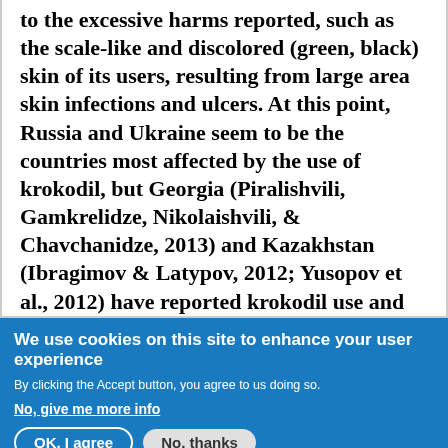to the excessive harms reported, such as the scale-like and discolored (green, black) skin of its users, resulting from large area skin infections and ulcers. At this point, Russia and Ukraine seem to be the countries most affected by the use of krokodil, but Georgia (Piralishvili, Gamkrelidze, Nikolaishvili, & Chavchanidze, 2013) and Kazakhstan (Ibragimov & Latypov, 2012; Yusopov et al., 2012) have reported krokodil use and related injuries as well."
We use cookies on this site to enhance your user experience
By clicking the Accept button, you agree to us doing so.
No, give me more info
OK, I agree
No, thanks